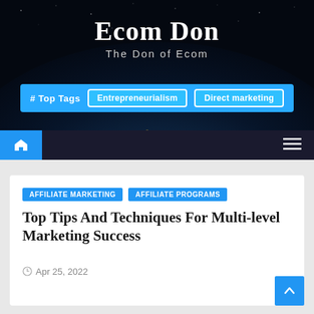[Figure (screenshot): Website header hero with dark space/earth background image]
Ecom Don
The Don of Ecom
# Top Tags  Entrepreneurialism  Direct marketing
Home navigation bar with hamburger menu icon
AFFILIATE MARKETING  AFFILIATE PROGRAMS
Top Tips And Techniques For Multi-level Marketing Success
Apr 25, 2022